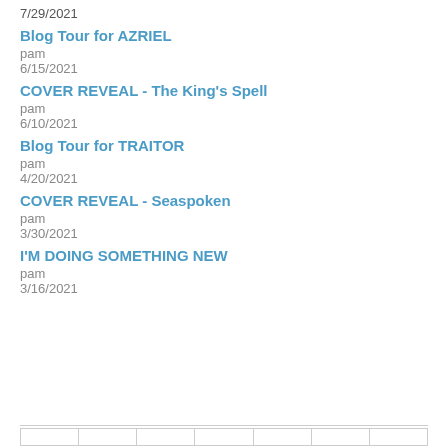7/29/2021
Blog Tour for AZRIEL
pam
6/15/2021
COVER REVEAL - The King's Spell
pam
6/10/2021
Blog Tour for TRAITOR
pam
4/20/2021
COVER REVEAL - Seaspoken
pam
3/30/2021
I'M DOING SOMETHING NEW
pam
3/16/2021
|  |